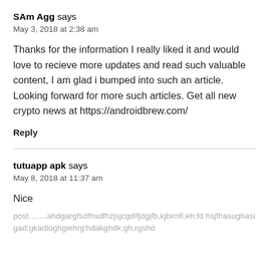SAm Agg says
May 3, 2018 at 2:38 am
Thanks for the information I really liked it and would love to recieve more updates and read such valuable content, I am glad i bumped into such an article. Looking forward for more such articles. Get all new crypto news at https://androidbrew.com/
Reply
tutuapp apk says
May 8, 2018 at 11:37 am
Nice
post…….ahdgargfsdfhsdfhzjsjcgdifjdgjfb,kjbimfi;eh;fd hsjfhasughasigad;gkadioghgiehrg'hdakghdk;gh;rgshd